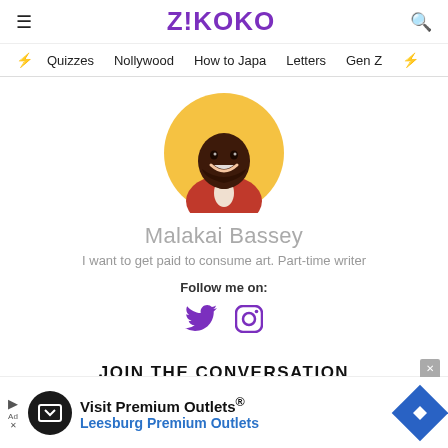ZIKOKO
⚡ Quizzes  Nollywood  How to Japa  Letters  Gen Z ⚡
[Figure (illustration): Circular avatar illustration of a smiling dark-skinned man wearing a red shirt, on a yellow/gold background circle.]
Malakai Bassey
I want to get paid to consume art. Part-time writer
Follow me on:
[Figure (other): Purple Twitter bird icon and purple Instagram camera icon]
JOIN THE CONVERSATION
[Figure (screenshot): Advertisement banner: Visit Premium Outlets® Leesburg Premium Outlets, with a black circular logo and blue navigation diamond icon.]